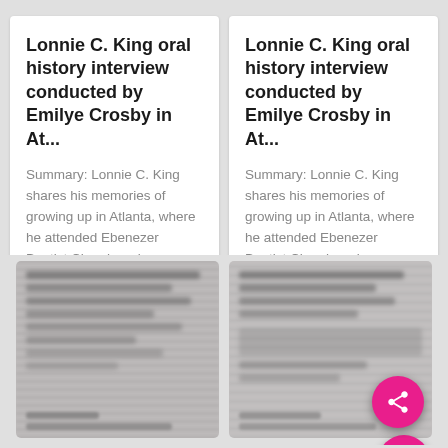Lonnie C. King oral history interview conducted by Emilye Crosby in At...
Summary: Lonnie C. King shares his memories of growing up in Atlanta, where he attended Ebenezer Baptist Church and was close with Martin Luther King, Jr.'s family. He recalls hs stint in the U.S. Navy, his yea... More
Lonnie C. King oral history interview conducted by Emilye Crosby in At...
Summary: Lonnie C. King shares his memories of growing up in Atlanta, where he attended Ebenezer Baptist Church and was close with Martin Luther King, Jr.'s family. He recalls hs stint in the U.S. Navy, his yea... More
[Figure (screenshot): Blurred/redacted content card (bottom-left)]
[Figure (screenshot): Blurred/redacted content card (bottom-right) with pink share FAB button]